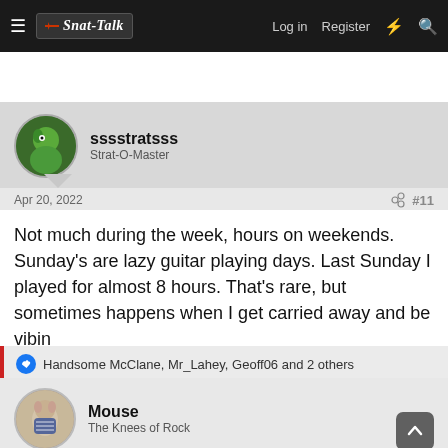Strat-Talk | Log in | Register
sssstratsss
Strat-O-Master
Apr 20, 2022  #11
Not much during the week, hours on weekends. Sunday's are lazy guitar playing days. Last Sunday I played for almost 8 hours. That's rare, but sometimes happens when I get carried away and be vibin
Handsome McClane, Mr_Lahey, Geoff06 and 2 others
Mouse
The Knees of Rock